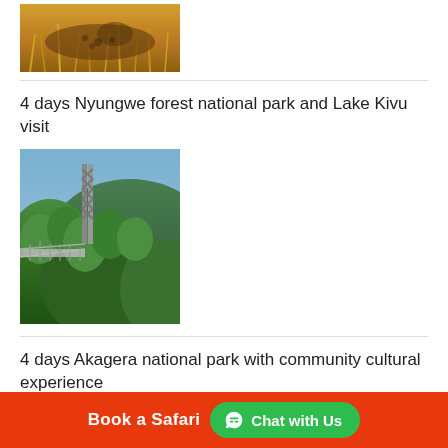[Figure (photo): Partial photo of a cheetah or leopard in dry grass savanna, cropped at top]
4 days Nyungwe forest national park and Lake Kivu visit
[Figure (photo): Photo of a canopy walkway suspension bridge with metal tower structure amid lush green forest hills]
4 days Akagera national park with community cultural experience
[Figure (photo): Partial photo of Akagera national park, cropped at bottom]
Book a Safari   Chat with Us